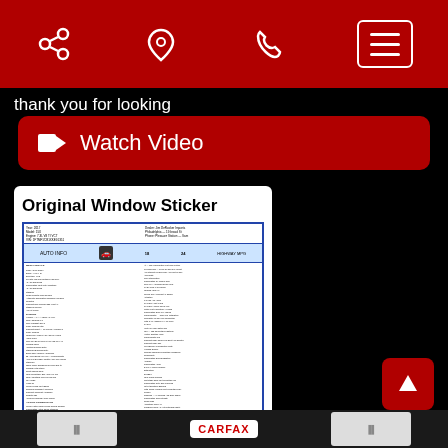share | location | phone | menu
thank you for looking
Watch Video
[Figure (screenshot): Original Window Sticker document image with vehicle details and QR code, with 'Click Here' text below]
CARFAX